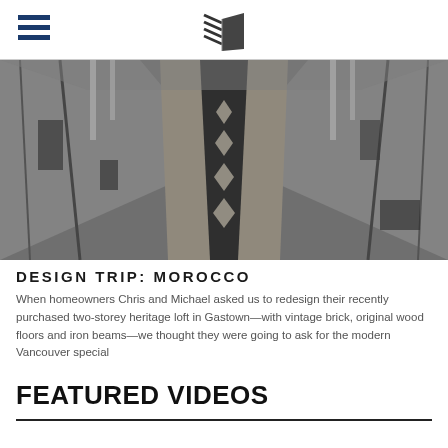[Figure (photo): Black and white photograph of a large tent interior in Morocco, showing a long decorative runner rug laid on sandy ground, with tent poles and fabric walls visible on either side.]
DESIGN TRIP: MOROCCO
When homeowners Chris and Michael asked us to redesign their recently purchased two-storey heritage loft in Gastown—with vintage brick, original wood floors and iron beams—we thought they were going to ask for the modern Vancouver special
FEATURED VIDEOS